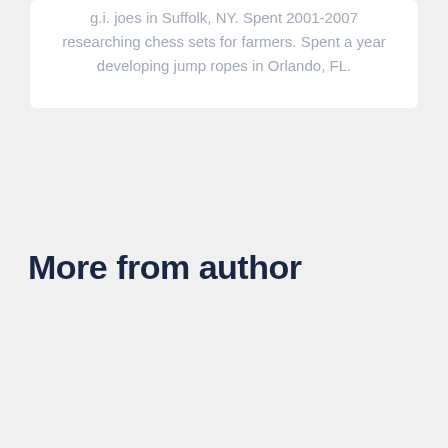g.i. joes in Suffolk, NY. Spent 2001-2007 researching chess sets for farmers. Spent a year developing jump ropes in Orlando, FL.
More from author